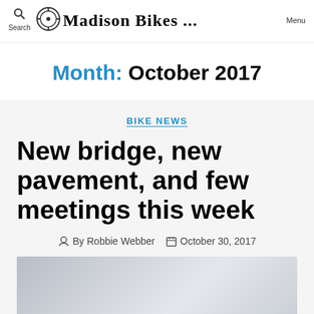Search | Madison Bikes ... | Menu
Month: October 2017
BIKE NEWS
New bridge, new pavement, and few meetings this week
By Robbie Webber  October 30, 2017
[Figure (photo): A grey/silver gradient placeholder image for the article]